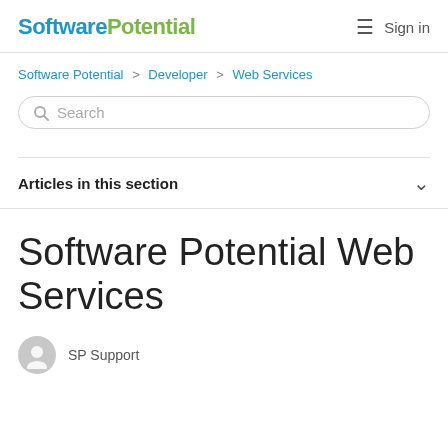SoftwarePotential  Sign in
Software Potential > Developer > Web Services
[Figure (other): Search input box with magnifier icon and placeholder text 'Search']
Articles in this section
Software Potential Web Services
SP Support